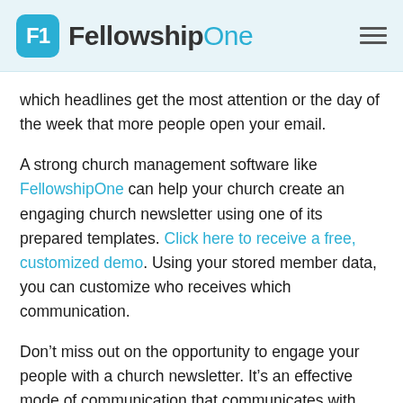FellowshipOne
which headlines get the most attention or the day of the week that more people open your email.
A strong church management software like FellowshipOne can help your church create an engaging church newsletter using one of its prepared templates. Click here to receive a free, customized demo. Using your stored member data, you can customize who receives which communication.
Don’t miss out on the opportunity to engage your people with a church newsletter. It’s an effective mode of communication that communicates with personal, private and tailored messages. And with the right software, it’s easy to measure its success. With your church’s email newsletter, you can build relationships and encourage engagement